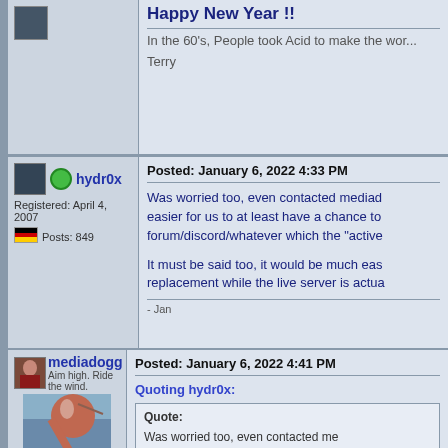Happy New Year !!
In the 60's, People took Acid to make the world a better place...
Terry
hydr0x
Registered: April 4, 2007
Posts: 849
Posted: January 6, 2022 4:33 PM
Was worried too, even contacted mediad... easier for us to at least have a chance to... forum/discord/whatever which the "active...
It must be said too, it would be much eas... replacement while the live server is actua...
- Jan
mediadogg
Aim high. Ride the wind.
Registered: March 18, 2007
Reputation:
Posts: 6,185
Posted: January 6, 2022 4:41 PM
Quoting hydr0x:
Quote: Was worried too, even contacted me... make it easier for us to at least have... forum/discord/whatever which the "a... communicate.

It must be said too, it would be much... server replacement while the live ser...
I agree with all you said. Been thinking a... of being illegal, so I have sent a couple o...